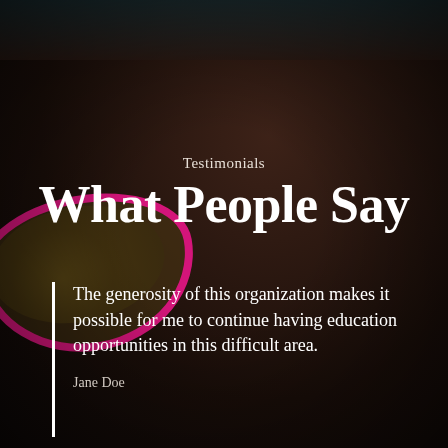[Figure (photo): Dark close-up photo of a person wearing pink/magenta glasses, with dark hair, used as background for a testimonial quote card]
Testimonials
What People Say
The generosity of this organization makes it possible for me to continue having education opportunities in this difficult area.
Jane Doe